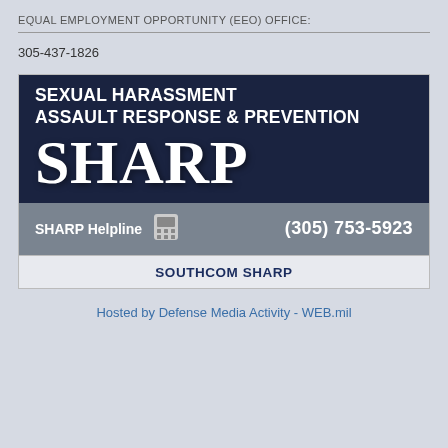EQUAL EMPLOYMENT OPPORTUNITY (EEO) OFFICE:
305-437-1826
[Figure (infographic): SHARP (Sexual Harassment Assault Response & Prevention) program banner with dark navy background showing large white text 'SEXUAL HARASSMENT ASSAULT RESPONSE & PREVENTION' and 'SHARP', with a gray bar below showing 'SHARP Helpline' with telephone icon and '(305) 753-5923']
SOUTHCOM SHARP
Hosted by Defense Media Activity - WEB.mil